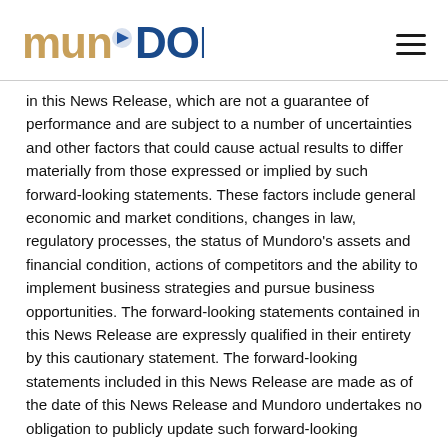[Figure (logo): Mundoro logo with stylized text in tan/gold and blue colors]
in this News Release, which are not a guarantee of performance and are subject to a number of uncertainties and other factors that could cause actual results to differ materially from those expressed or implied by such forward-looking statements. These factors include general economic and market conditions, changes in law, regulatory processes, the status of Mundoro’s assets and financial condition, actions of competitors and the ability to implement business strategies and pursue business opportunities. The forward-looking statements contained in this News Release are expressly qualified in their entirety by this cautionary statement. The forward-looking statements included in this News Release are made as of the date of this News Release and Mundoro undertakes no obligation to publicly update such forward-looking